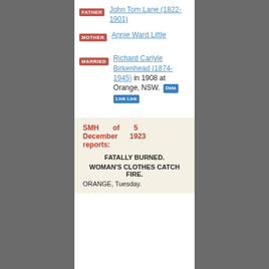FATHER: John Tom Lane (1822-1901)
MOTHER: Annie Ward Little
MARRIED: Richard Carlyle Birkenhead (1874-1945) in 1908 at Orange, NSW. [Data] [Link Link]
SMH of 5 December 1923 reports:
FATALLY BURNED.
WOMAN'S CLOTHES CATCH FIRE.
ORANGE, Tuesday.